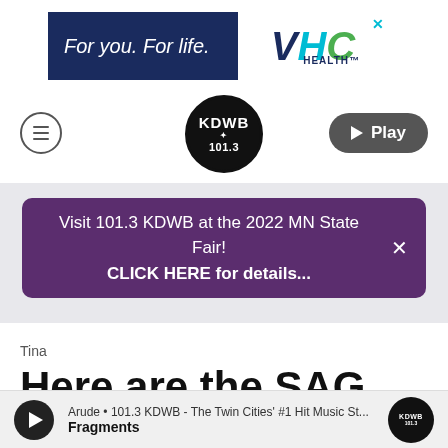[Figure (logo): VHC Health advertisement banner: dark navy left side with 'For you. For life.' text, VHC logo on white right side with teal and green lettering and HEALTH subtitle]
[Figure (logo): KDWB 101.3 radio station circular logo in black with white text]
[Figure (other): Navigation bar with hamburger menu icon on left, KDWB 101.3 logo in center, Play button on right]
Visit 101.3 KDWB at the 2022 MN State Fair! CLICK HERE for details...
Tina
Here are the SAG Award Nominees
Arude • 101.3 KDWB - The Twin Cities' #1 Hit Music St... Fragments